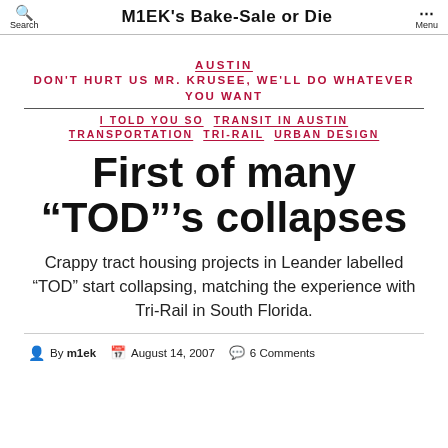M1EK's Bake-Sale or Die | Search | Menu
AUSTIN
DON'T HURT US MR. KRUSEE, WE'LL DO WHATEVER YOU WANT
I TOLD YOU SO  TRANSIT IN AUSTIN  TRANSPORTATION  TRI-RAIL  URBAN DESIGN
First of many “TOD”’s collapses
Crappy tract housing projects in Leander labelled “TOD” start collapsing, matching the experience with Tri-Rail in South Florida.
By m1ek  August 14, 2007  6 Comments